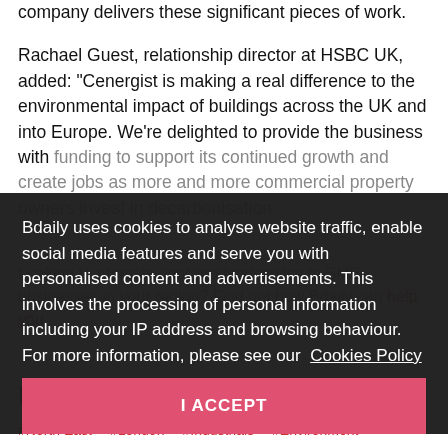company delivers these significant pieces of work.
Rachael Guest, relationship director at HSBC UK, added: “Cenergist is making a real difference to the environmental impact of buildings across the UK and into Europe. We’re delighted to provide the business with funding to support its continued growth and create jobs as more and more commercial property owners invest in decarbonisation.
Looking to promote your product/service to SME businesses in your region? Find out how Bdaily can help you.
Bdaily uses cookies to analyse website traffic, enable social media features and serve you with personalised content and advertisements. This involves the processing of personal information including your IP address and browsing behaviour. For more information, please see our Cookies Policy
I ACCEPT
Explore these topics
#North East  #London  #Industrials  #Environment